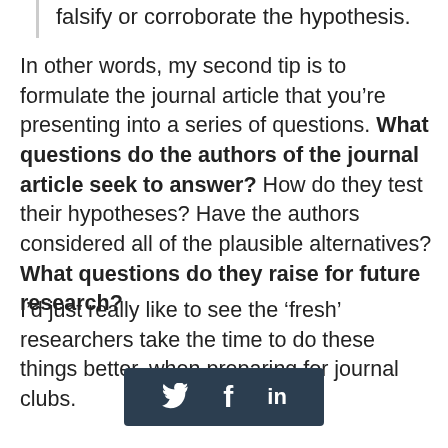falsify or corroborate the hypothesis.
In other words, my second tip is to formulate the journal article that you’re presenting into a series of questions. What questions do the authors of the journal article seek to answer? How do they test their hypotheses? Have the authors considered all of the plausible alternatives? What questions do they raise for future research?
I’d just really like to see the ‘fresh’ researchers take the time to do these things better, when preparing for journal clubs.
[Figure (other): Social sharing bar with Twitter, Facebook, and LinkedIn icons on a dark background]